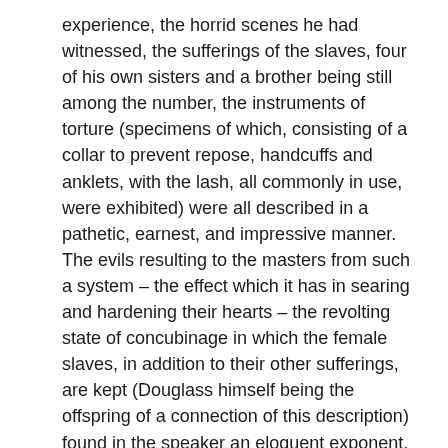experience, the horrid scenes he had witnessed, the sufferings of the slaves, four of his own sisters and a brother being still among the number, the instruments of torture (specimens of which, consisting of a collar to prevent repose, handcuffs and anklets, with the lash, all commonly in use, were exhibited) were all described in a pathetic, earnest, and impressive manner. The evils resulting to the masters from such a system – the effect which it has in searing and hardening their hearts – the revolting state of concubinage in which the female slaves, in addition to their other sufferings, are kept (Douglass himself being the offspring of a connection of this description) found in the speaker an eloquent exponent.
Slavery has  been, however, often described; and even its worst features, as they are exhibited in the boasted land of professed universal freedom, have been frequently held up to the public. We therefore pass over the first three meetings to give a short sketch of the fourth one, which was held in Bell Street Chapel, on the evening of Friday, – the principal subject then considered being the fellowship which the Free